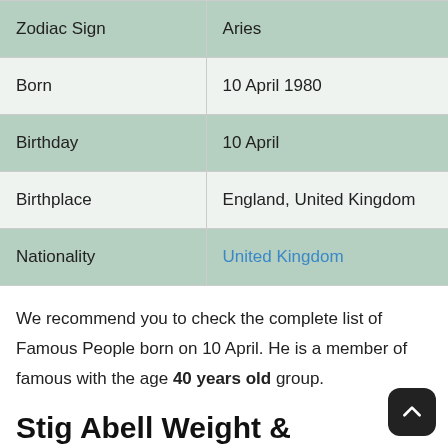| Zodiac Sign | Aries |
| Born | 10 April 1980 |
| Birthday | 10 April |
| Birthplace | England, United Kingdom |
| Nationality | United Kingdom |
We recommend you to check the complete list of Famous People born on 10 April. He is a member of famous with the age 40 years old group.
Stig Abell Weight & Measurements